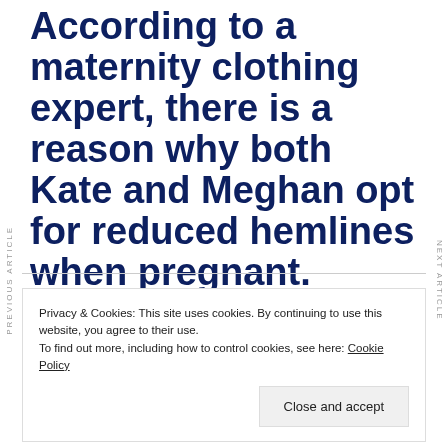According to a maternity clothing expert, there is a reason why both Kate and Meghan opt for reduced hemlines when pregnant.
Privacy & Cookies: This site uses cookies. By continuing to use this website, you agree to their use. To find out more, including how to control cookies, see here: Cookie Policy